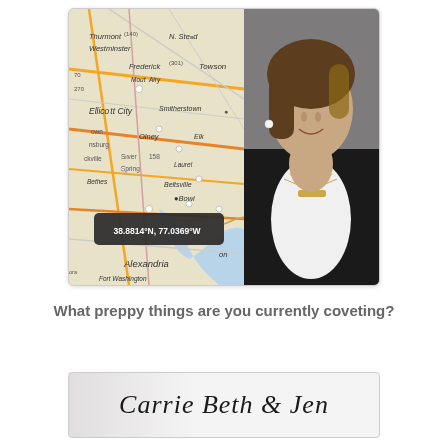[Figure (photo): Composite photo showing a map of the Washington DC/Maryland area with a gold bar necklace engraved with coordinates '38.8814°N, 77.0369°W' overlaid on the left, and a smiling woman wearing the same gold coordinate bar necklace on the right, dressed in a white top and black blazer with pearl earrings.]
What preppy things are you currently coveting?
[Figure (logo): Signature logo reading 'Carrie Beth & Jen' in cursive/script font on a light gray background.]